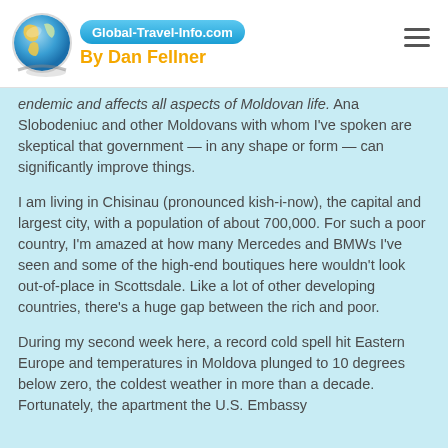[Figure (logo): Globe logo with blue pill banner reading 'Global-Travel-Info.com' and text 'By Dan Fellner' in orange below]
endemic and affects all aspects of Moldovan life. Ana Slobodeniuc and other Moldovans with whom I've spoken are skeptical that government — in any shape or form — can significantly improve things.
I am living in Chisinau (pronounced kish-i-now), the capital and largest city, with a population of about 700,000. For such a poor country, I'm amazed at how many Mercedes and BMWs I've seen and some of the high-end boutiques here wouldn't look out-of-place in Scottsdale. Like a lot of other developing countries, there's a huge gap between the rich and poor.
During my second week here, a record cold spell hit Eastern Europe and temperatures in Moldova plunged to 10 degrees below zero, the coldest weather in more than a decade. Fortunately, the apartment the U.S. Embassy